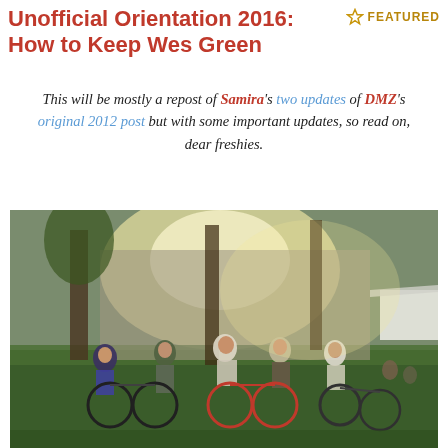Unofficial Orientation 2016: How to Keep Wes Green
[Figure (other): Star icon with FEATURED badge in top right corner]
This will be mostly a repost of Samira's two updates of DMZ's original 2012 post but with some important updates, so read on, dear freshies.
[Figure (photo): Outdoor photo of a group of students gathered on grass with bicycles, trees and a building wall in the background, taken during golden hour light. A white tent is visible on the right side.]